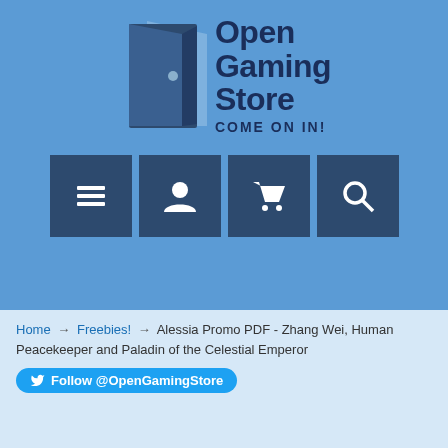[Figure (logo): Open Gaming Store logo with door icon and text 'Open Gaming Store Come On In!' on blue background with navigation icons]
Home → Freebies! → Alessia Promo PDF - Zhang Wei, Human Peacekeeper and Paladin of the Celestial Emperor
Follow @OpenGamingStore
Alessia Promo PDF - Zhang Wei, Human Peacekeeper and Paladin of the Celestial